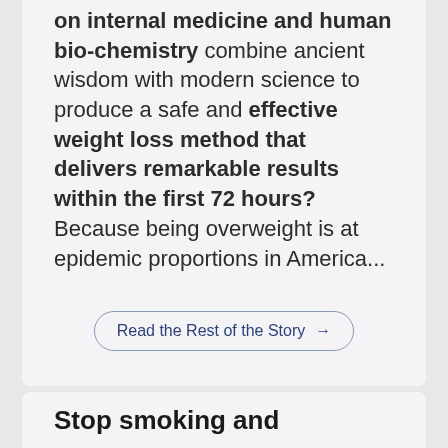on internal medicine and human bio-chemistry combine ancient wisdom with modern science to produce a safe and effective weight loss method that delivers remarkable results within the first 72 hours? Because being overweight is at epidemic proportions in America...
Read the Rest of the Story →
Stop smoking and